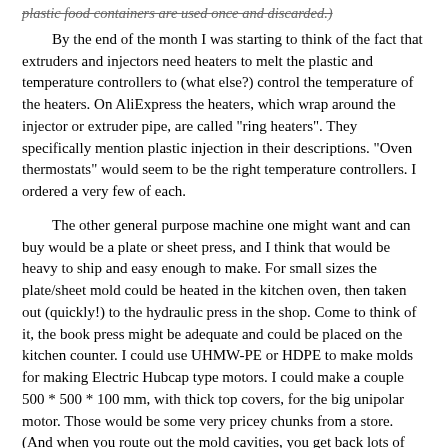plastic food containers are used once and discarded.)
By the end of the month I was starting to think of the fact that extruders and injectors need heaters to melt the plastic and temperature controllers to (what else?) control the temperature of the heaters. On AliExpress the heaters, which wrap around the injector or extruder pipe, are called "ring heaters". They specifically mention plastic injection in their descriptions. "Oven thermostats" would seem to be the right temperature controllers. I ordered a very few of each.
The other general purpose machine one might want and can buy would be a plate or sheet press, and I think that would be heavy to ship and easy enough to make. For small sizes the plate/sheet mold could be heated in the kitchen oven, then taken out (quickly!) to the hydraulic press in the shop. Come to think of it, the book press might be adequate and could be placed on the kitchen counter. I could use UHMW-PE or HDPE to make molds for making Electric Hubcap type motors. I could make a couple 500 * 500 * 100 mm, with thick top covers, for the big unipolar motor. Those would be some very pricey chunks from a store. (And when you route out the mold cavities, you get back lots of shredded plastic for the next piece!)
I also saw that molds for the "giant Lego" bricks in the video were available on the bazar.